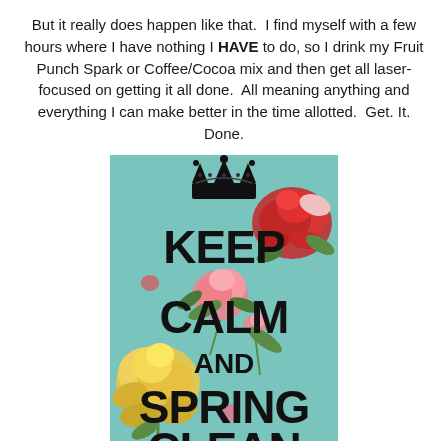But it really does happen like that.  I find myself with a few hours where I have nothing I HAVE to do, so I drink my Fruit Punch Spark or Coffee/Cocoa mix and then get all laser-focused on getting it all done.  All meaning anything and everything I can make better in the time allotted.  Get. It. Done.
[Figure (illustration): A 'Keep Calm and Spring Clean' poster with a mint/teal vintage background decorated with floral roses (red, pink, yellow). Features a black crown at the top, and large bold black text reading KEEP CALM AND SPRING (with the bottom partially cut off).]